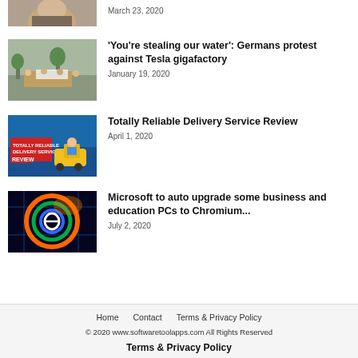[Figure (photo): Cropped image of a person, partially visible at top]
March 23, 2020
[Figure (photo): Protesters holding signs on street]
'You're stealing our water': Germans protest against Tesla gigafactory
January 19, 2020
[Figure (photo): Totally Reliable Delivery Service Review game screenshot]
Totally Reliable Delivery Service Review
April 1, 2020
[Figure (photo): Microsoft Edge / Chromium logo swirl]
Microsoft to auto upgrade some business and education PCs to Chromium...
July 2, 2020
Home   Contact   Terms & Privacy Policy
© 2020 www.softwaretoolapps.com All Rights Reserved
Terms & Privacy Policy